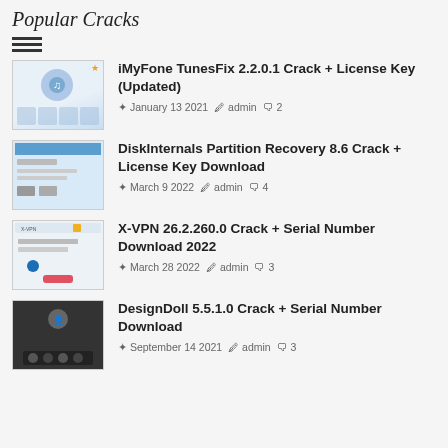Popular Cracks
iMyFone TunesFix 2.2.0.1 Crack + License Key (Updated) | January 13 2021 | admin | 2
DiskInternals Partition Recovery 8.6 Crack + License Key Download | March 9 2022 | admin | 4
X-VPN 26.2.260.0 Crack + Serial Number Download 2022 | March 28 2022 | admin | 3
DesignDoll 5.5.1.0 Crack + Serial Number Download | September 14 2021 | admin | 3